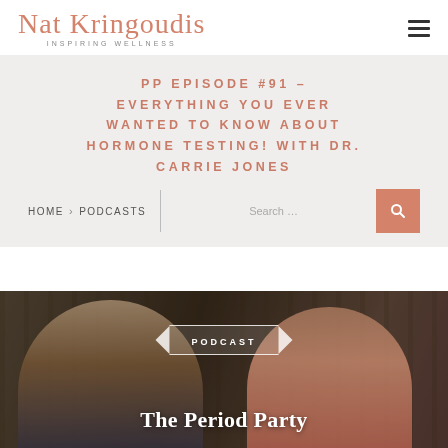Nat Kringoudis — INSPIRING WELLNESS
PP EPISODE #91 – EVERYTHING YOU EVER WANTED TO KNOW ABOUT HORMONE TESTING! WITH DR. CARRIE JONES
HOME > PODCASTS
[Figure (photo): Photo of two women side by side with 'PODCAST' ribbon overlay, title text 'The Period Party Episode 91' overlaid in white]
PODCAST — The Period Party Episode 91